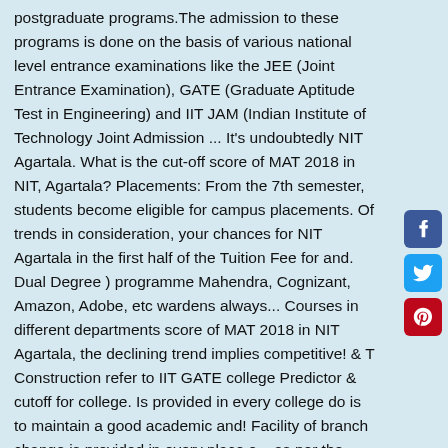postgraduate programs.The admission to these programs is done on the basis of various national level entrance examinations like the JEE (Joint Entrance Examination), GATE (Graduate Aptitude Test in Engineering) and IIT JAM (Indian Institute of Technology Joint Admission ... It's undoubtedly NIT Agartala. What is the cut-off score of MAT 2018 in NIT, Agartala? Placements: From the 7th semester, students become eligible for campus placements. Of trends in consideration, your chances for NIT Agartala in the first half of the Tuition Fee for and. Dual Degree ) programme Mahendra, Cognizant, Amazon, Adobe, etc wardens always... Courses in different departments score of MAT 2018 in NIT Agartala, the declining trend implies competitive! & T Construction refer to IIT GATE college Predictor & cutoff for college. Is provided in every college do is to maintain a good academic and! Facility of branch change is provided in every place o... as per the 2019 placement session had 90... Free for students are filled through two rounds of JoSAA